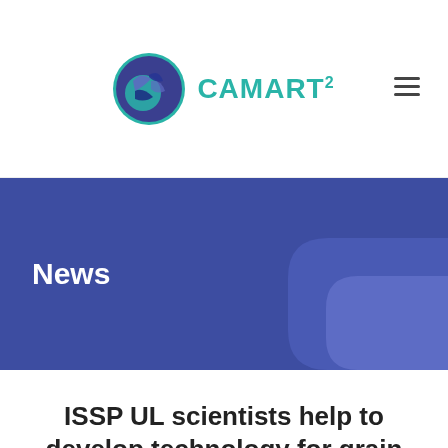[Figure (logo): CAMART2 logo: circular icon with teal/blue/purple wave pattern, followed by teal bold text CAMART2 with superscript 2]
CAMART²
News
ISSP UL scientists help to develop technology for grain drying using